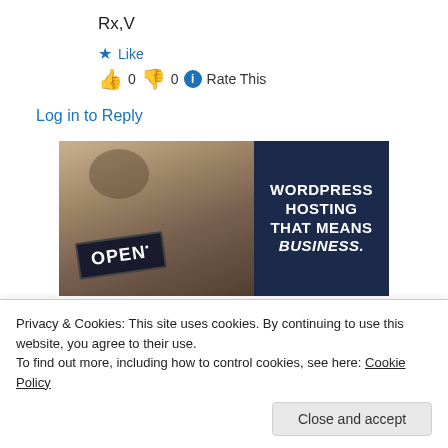Rx,V
★ Like
👍 0 👎 0 ℹ Rate This
Log in to Reply
[Figure (photo): Advertisement banner: left side shows a person holding an OPEN sign in a shop; right side is a dark navy panel with white bold text reading WORDPRESS HOSTING THAT MEANS BUSINESS.]
Privacy & Cookies: This site uses cookies. By continuing to use this website, you agree to their use.
To find out more, including how to control cookies, see here: Cookie Policy
Close and accept